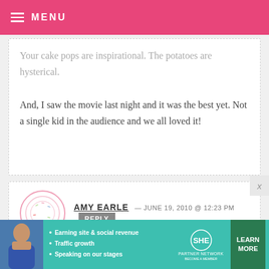MENU
Your cake pops are inspirational. The potatoes are hysterical.

And, I saw the movie last night and it was the best yet. Not a single kid in the audience and we all loved it!
AMY EARLE — JUNE 19, 2010 @ 12:23 PM REPLY

I usually don't comment, I just log on and love what you do. I borrow ideas here and there. But this post stopped
[Figure (infographic): SHE Partner Network advertisement banner with woman photo, bullet points about earning site & social revenue, traffic growth, speaking on our stages, SHE logo, and Learn More button]